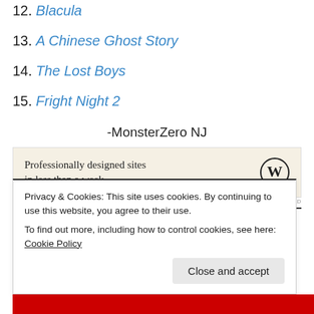12. Blacula
13. A Chinese Ghost Story
14. The Lost Boys
15. Fright Night 2
-MonsterZero NJ
[Figure (other): WordPress advertisement: Professionally designed sites in less than a week]
Privacy & Cookies: This site uses cookies. By continuing to use this website, you agree to their use. To find out more, including how to control cookies, see here: Cookie Policy